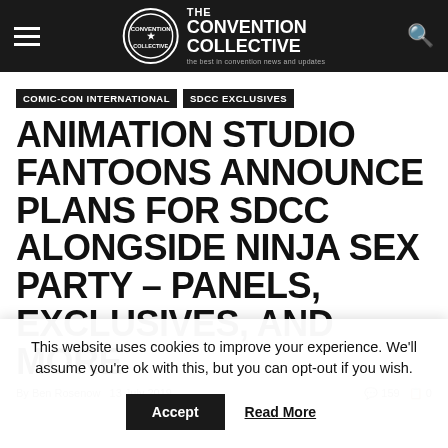THE CONVENTION COLLECTIVE — the best in convention news and updates
COMIC-CON INTERNATIONAL
SDCC EXCLUSIVES
ANIMATION STUDIO FANTOONS ANNOUNCE PLANS FOR SDCC ALONGSIDE NINJA SEX PARTY – PANELS, EXCLUSIVES, AND MORE
This website uses cookies to improve your experience. We'll assume you're ok with this, but you can opt-out if you wish.
Accept  Read More